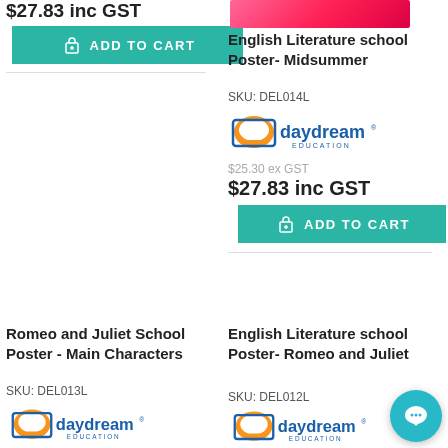$27.83 inc GST
ADD TO CART
English Literature school Poster- Midsummer
SKU: DEL014L
[Figure (logo): Daydream Education logo]
$25.30 ex GST
$27.83 inc GST
ADD TO CART
Romeo and Juliet School Poster - Main Characters
SKU: DEL013L
[Figure (logo): Daydream Education logo]
English Literature school Poster- Romeo and Juliet
SKU: DEL012L
[Figure (logo): Daydream Education logo]
[Figure (other): Live chat bubble button]